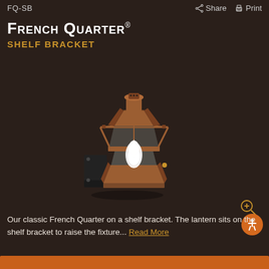FQ-SB   Share   Print
French Quarter®
Shelf Bracket
[Figure (photo): Copper French Quarter lantern mounted on a shelf bracket, showing the classic rectangular glass lantern body with beveled copper frame and a white flame-style bulb visible inside. The shelf bracket is a dark metal wall-mount bracket supporting the lantern from below.]
Our classic French Quarter on a shelf bracket. The lantern sits on the shelf bracket to raise the fixture... Read More